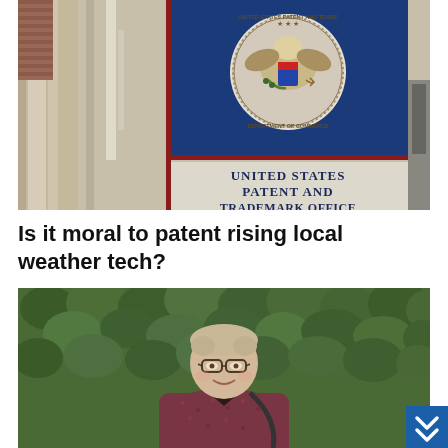[Figure (photo): Exterior of the United States Patent and Trademark Office building. A blue sign panel displays the USPTO seal (eagle emblem with 'United States Patent and Trademark Office – Department of Commerce') and below it reads 'United States Patent And Trademark Office' in dark serif font on a light background.]
Is it moral to patent rising local weather tech?
[Figure (photo): A young man with glasses, wearing a dark-collared maroon patterned short-sleeve shirt and a crossbody bag strap, smiling in front of a dense green leafy hedge background.]